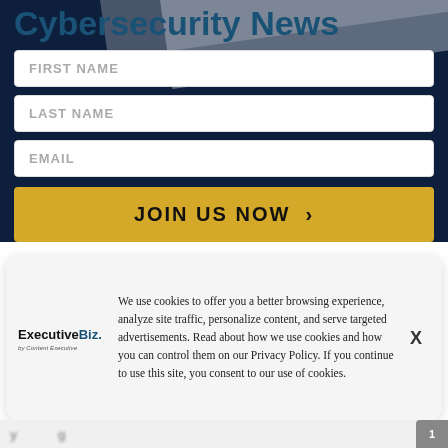Cybersecurity News
[Figure (screenshot): Newsletter signup form with First Name, Last Name, Email fields and a JOIN US NOW button on dark navy background]
[Figure (infographic): Cookie consent popup with ExecutiveBiz logo on left, cookie policy text in center, and X close button on right]
We use cookies to offer you a better browsing experience, analyze site traffic, personalize content, and serve targeted advertisements. Read about how we use cookies and how you can control them on our Privacy Policy. If you continue to use this site, you consent to our use of cookies.